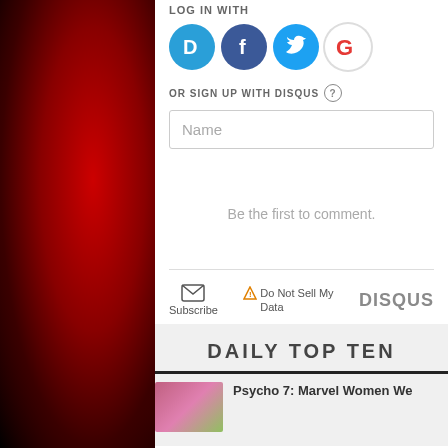LOG IN WITH
[Figure (screenshot): Four social login icons: Disqus (blue circle with D), Facebook (dark blue circle with f), Twitter (light blue circle with bird), Google (white/red circle with G)]
OR SIGN UP WITH DISQUS ?
[Figure (screenshot): Name text input field with placeholder text 'Name']
Be the first to comment.
Subscribe
Do Not Sell My Data
DISQUS
DAILY TOP TEN
Psycho 7: Marvel Women We